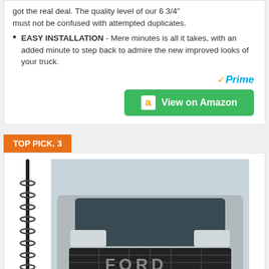got the real deal. The quality level of our 6 3/4" must not be confused with attempted duplicates.
EASY INSTALLATION - Mere minutes is all it takes, with an added minute to step back to admire the new improved looks of your truck.
[Figure (logo): Amazon Prime logo with checkmark and 'Prime' in blue italic text, followed by green 'View on Amazon' button with Amazon 'a' logo]
TOP PICK. 3
[Figure (photo): Photo of a truck antenna (black, spiral/ribbed style) on the left, and a silver Ford Raptor truck front grille on the right]